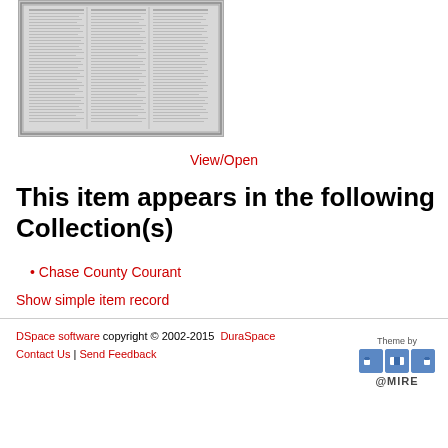[Figure (photo): Thumbnail of a scanned historical newspaper page (Chase County Courant), showing columns of text in black and white.]
View/Open
This item appears in the following Collection(s)
Chase County Courant
Show simple item record
DSpace software copyright © 2002-2015  DuraSpace | Contact Us | Send Feedback | Theme by @MIRE